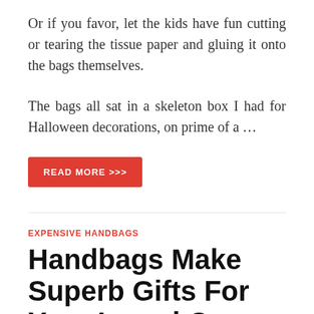Or if you favor, let the kids have fun cutting or tearing the tissue paper and gluing it onto the bags themselves.
The bags all sat in a skeleton box I had for Halloween decorations, on prime of a …
READ MORE >>>
EXPENSIVE HANDBAGS
Handbags Make Superb Gifts For Your Loved Ones For Any Occasion
May 2, 2016  •  by Emily Cooper